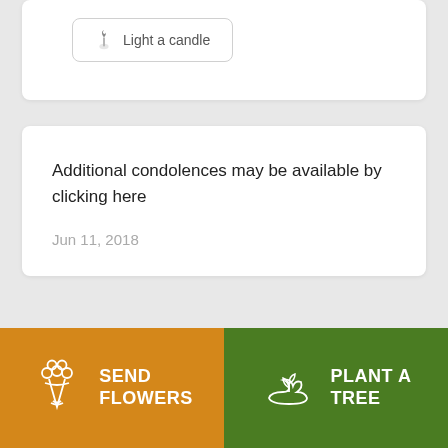[Figure (screenshot): Button with flame icon labeled 'Light a candle']
Additional condolences may be available by clicking here
Jun 11, 2018
This site is protected by reCAPTCHA and the
[Figure (infographic): Orange 'SEND FLOWERS' button with flower bouquet icon and green 'PLANT A TREE' button with plant/hand icon]